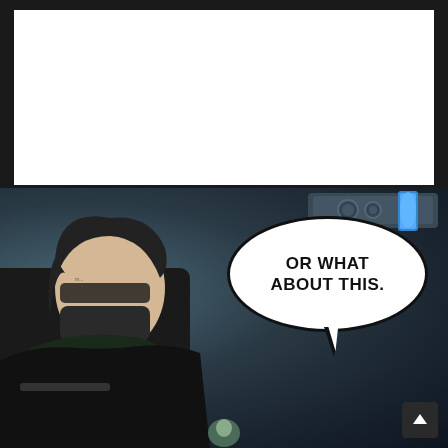[Figure (illustration): Manga/webtoon comic page. Top panel is blank white. Bottom panel shows a character in dark clothing/mask viewed from close-up side profile on the left, with blue glowing weapon/device visible in background upper right. A speech bubble reads 'OR WHAT ABOUT THIS.' A small scroll-up button is in the bottom right corner.]
OR WHAT ABOUT THIS.